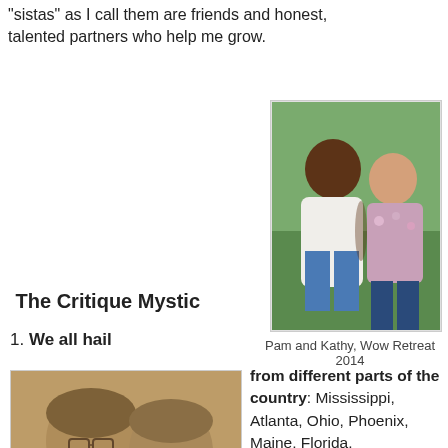"sistas" as I call them are friends and honest, talented partners who help me grow.
[Figure (photo): Two women smiling outdoors in front of green foliage — one in a white top and jeans, one in a floral top]
The Critique Mystic
1. We all hail
Pam and Kathy, Wow Retreat 2014
[Figure (photo): Sepia-toned photo of two older women smiling closely together]
from different parts of the country: Mississippi, Atlanta, Ohio, Phoenix, Maine, Florida.